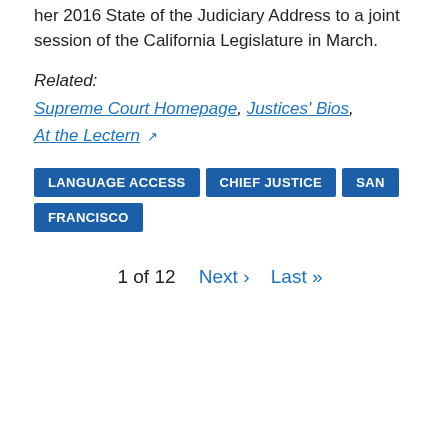her 2016 State of the Judiciary Address to a joint session of the California Legislature in March.
Related:
Supreme Court Homepage, Justices' Bios, At the Lectern
LANGUAGE ACCESS
CHIEF JUSTICE
SAN FRANCISCO
1 of 12  Next ›  Last »